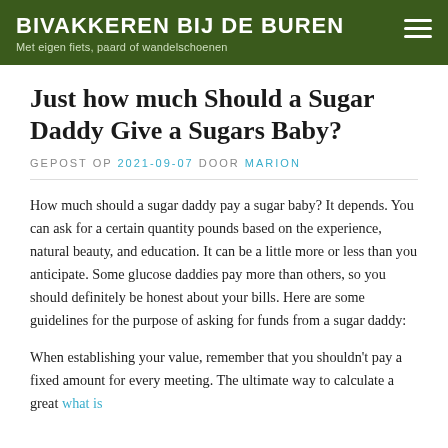BIVAKKEREN BIJ DE BUREN
Met eigen fiets, paard of wandelschoenen
Just how much Should a Sugar Daddy Give a Sugars Baby?
GEPOST OP 2021-09-07 DOOR MARION
How much should a sugar daddy pay a sugar baby? It depends. You can ask for a certain quantity pounds based on the experience, natural beauty, and education. It can be a little more or less than you anticipate. Some glucose daddies pay more than others, so you should definitely be honest about your bills. Here are some guidelines for the purpose of asking for funds from a sugar daddy:
When establishing your value, remember that you shouldn't pay a fixed amount for every meeting. The ultimate way to calculate a great what is